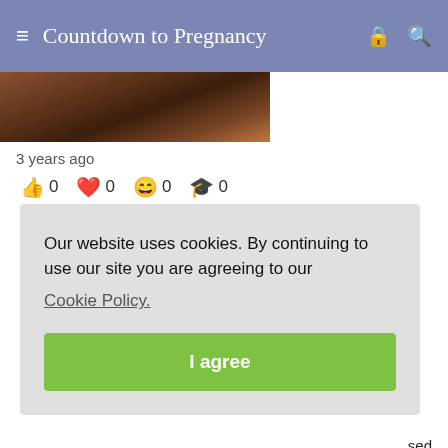≡  Countdown to Pregnancy  🔒  🔍
[Figure (photo): Partial photo strip showing dark brown tones, partially cropped]
3 years ago
👍 0   ❤ 0   😄 0   🎓 0
Our website uses cookies. By continuing to use our site you are agreeing to our Cookie Policy.
I agree
...sed ...SG & hysteroscopy. We were told that the 3 months following would be the best time for us to get pregnant. We didn't BD until a month post lap and really didn't consider ourselves TTC again until April